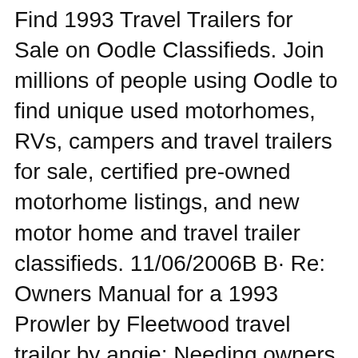Find 1993 Travel Trailers for Sale on Oodle Classifieds. Join millions of people using Oodle to find unique used motorhomes, RVs, campers and travel trailers for sale, certified pre-owned motorhome listings, and new motor home and travel trailer classifieds. 11/06/2006B B· Re: Owners Manual for a 1993 Prowler by Fleetwood travel trailor by angie: Needing owners manual for 1993 prowler 25w..
11/06/2006B B· Re: Owners Manual for a 1993 Prowler by Fleetwood travel trailor by angie: Needing owners manual for 1993 prowler 25w.. Find 1993 Travel Trailers for Sale on Oodle Classifieds. Join millions of people using